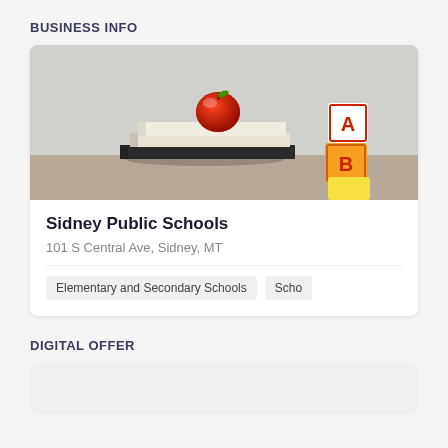BUSINESS INFO
[Figure (photo): Photo of stacked books with a red apple on top and ABC alphabet blocks on the right side, representing a school setting.]
Sidney Public Schools
101 S Central Ave, Sidney, MT
Elementary and Secondary Schools
Scho
DIGITAL OFFER